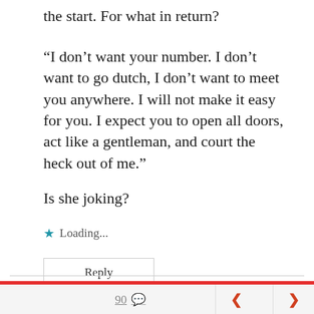the start. For what in return?
“I don’t want your number. I don’t want to go dutch, I don’t want to meet you anywhere. I will not make it easy for you. I expect you to open all doors, act like a gentleman, and court the heck out of me.”
Is she joking?
★ Loading...
Reply
90 💬